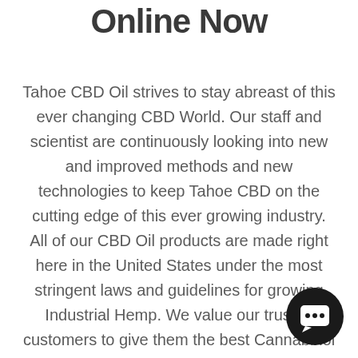Online Now
Tahoe CBD Oil strives to stay abreast of this ever changing CBD World. Our staff and scientist are continuously looking into new and improved methods and new technologies to keep Tahoe CBD on the cutting edge of this ever growing industry. All of our CBD Oil products are made right here in the United States under the most stringent laws and guidelines for growing Industrial Hemp. We value our trusted customers to give them the best Cannabinol (CBD Oil) products available in the World. Call Us! (530) 217-3600
[Figure (illustration): Dark circular chat button icon with speech bubble symbol, positioned bottom-right corner]